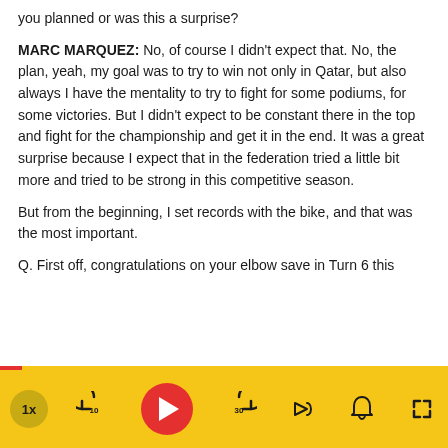you planned or was this a surprise?
MARC MARQUEZ: No, of course I didn't expect that. No, the plan, yeah, my goal was to try to win not only in Qatar, but also always I have the mentality to try to fight for some podiums, for some victories. But I didn't expect to be constant there in the top and fight for the championship and get it in the end. It was a great surprise because I expect that in the federation tried a little bit more and tried to be strong in this competitive season.
But from the beginning, I set records with the bike, and that was the most important.
Q. First off, congratulations on your elbow save in Turn 6 this
[Figure (screenshot): Audio/podcast player bar with yellow background. Controls from left to right: speed button (1x), rewind 10s, play button (red circle with white triangle), forward 30s, share, notification bell, and fullscreen expand. A red dot and progress bar are shown just above the player bar.]